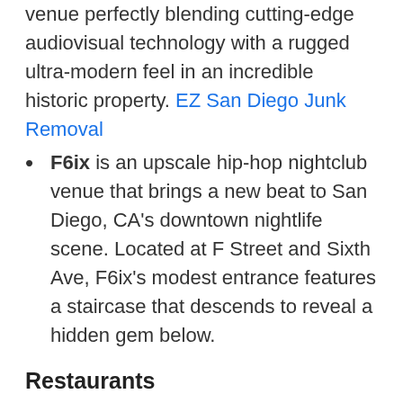Raw and edgy, Bassmnt is a uniquely designed venue perfectly blending cutting-edge audiovisual technology with a rugged ultra-modern feel in an incredible historic property. EZ San Diego Junk Removal
F6ix is an upscale hip-hop nightclub venue that brings a new beat to San Diego, CA's downtown nightlife scene. Located at F Street and Sixth Ave, F6ix's modest entrance features a staircase that descends to reveal a hidden gem below.
Restaurants
Asti Ristorante This Traditional Italian restaurant encompasses an inviting and intimate atmosphere. Having provided this exquisite fine-dining experience for over 20 years, Asti continues to be one of the Gaslamp's finest Italian restaurants.
Lionfish Coastal Cuisine is as social as the